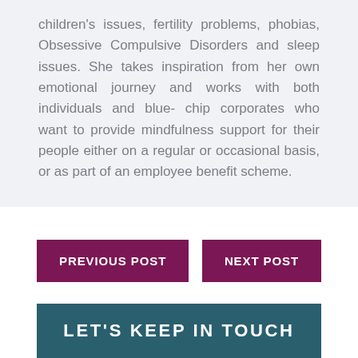children's issues, fertility problems, phobias, Obsessive Compulsive Disorders and sleep issues. She takes inspiration from her own emotional journey and works with both individuals and blue-chip corporates who want to provide mindfulness support for their people either on a regular or occasional basis, or as part of an employee benefit scheme.
PREVIOUS POST
NEXT POST
LET'S KEEP IN TOUCH